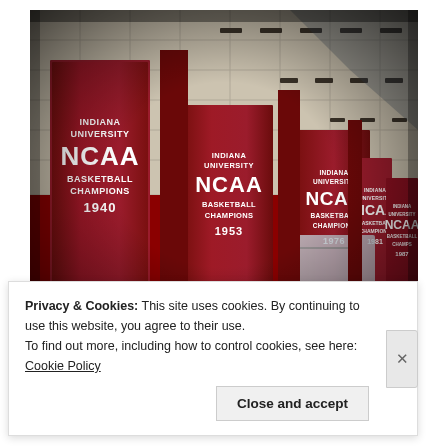[Figure (photo): Photograph of Indiana University NCAA Basketball Championship banners hanging in Assembly Hall. Five red banners visible reading 'INDIANA UNIVERSITY NCAA BASKETBALL CHAMPIONS' with years 1940, 1953, 1976, 1981, 1987.]
Privacy & Cookies: This site uses cookies. By continuing to use this website, you agree to their use.
To find out more, including how to control cookies, see here: Cookie Policy
Close and accept